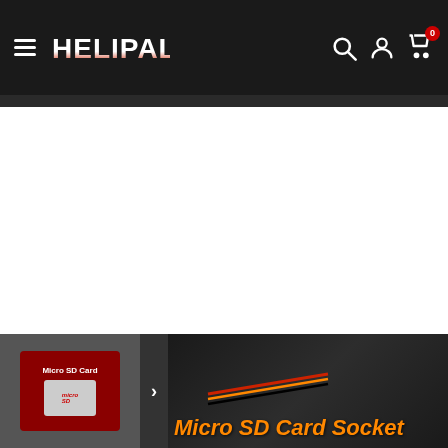HELIPAL navigation bar with hamburger menu, search, account, and cart icons
[Figure (screenshot): Bottom product image showing a micro SD card and 'Micro SD Card Socket' label text on an orange background with electronic hardware in background]